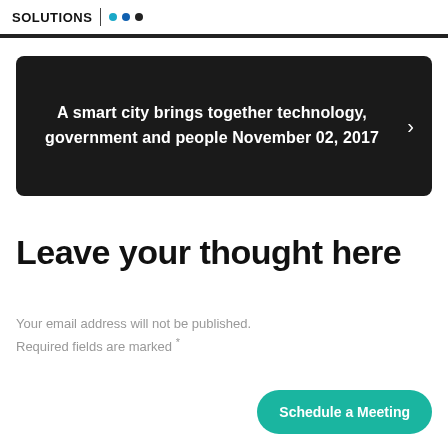solutions · · ·
A smart city brings together technology, government and people November 02, 2017
Leave your thought here
Your email address will not be published. Required fields are marked *
Schedule a Meeting